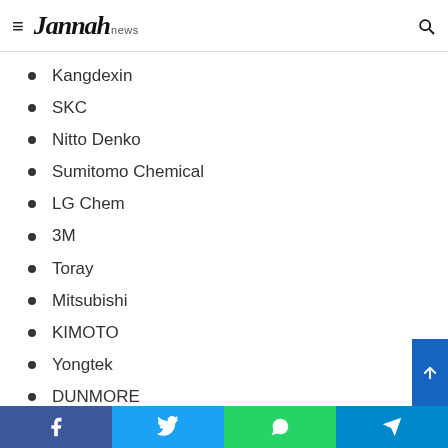≡ Jannah news [search icon]
Kangdexin
SKC
Nitto Denko
Sumitomo Chemical
LG Chem
3M
Toray
Mitsubishi
KIMOTO
Yongtek
DUNMORE
Facebook  Twitter  WhatsApp  Telegram